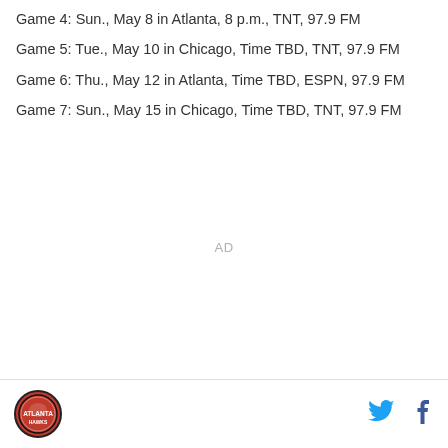Game 4: Sun., May 8 in Atlanta, 8 p.m., TNT, 97.9 FM
Game 5: Tue., May 10 in Chicago, Time TBD, TNT, 97.9 FM
Game 6: Thu., May 12 in Atlanta, Time TBD, ESPN, 97.9 FM
Game 7: Sun., May 15 in Chicago, Time TBD, TNT, 97.9 FM
AD
[Figure (logo): Atlanta Hawks logo - circular red emblem with Atlanta text]
[Figure (illustration): Twitter bird icon in blue]
[Figure (illustration): Facebook f icon in dark blue]